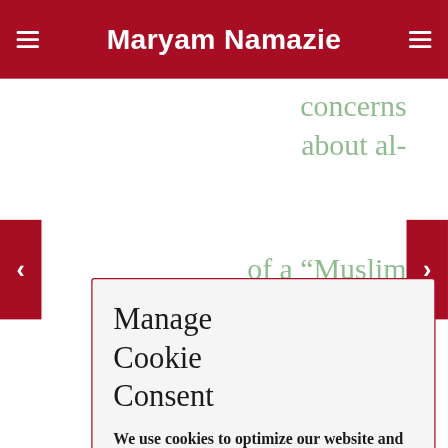Maryam Namazie
concerns about al-
Manage Cookie Consent
We use cookies to optimize our website and our service.
Accept
Deny
Preferences
of a "Muslim cleric". Such unconcern about right-wing bigotry